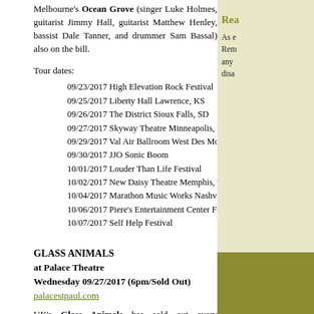Melbourne's Ocean Grove (singer Luke Holmes, guitarist Jimmy Hall, guitarist Matthew Henley, bassist Dale Tanner, and drummer Sam Bassal) also on the bill.
Tour dates:
09/23/2017 High Elevation Rock Festival
09/25/2017 Liberty Hall Lawrence, KS
09/26/2017 The District Sioux Falls, SD
09/27/2017 Skyway Theatre Minneapolis, MN
09/29/2017 Val Air Ballroom West Des Moines, IA
09/30/2017 JJO Sonic Boom
10/01/2017 Louder Than Life Festival
10/02/2017 New Daisy Theatre Memphis, TN
10/04/2017 Marathon Music Works Nashville, TN
10/06/2017 Piere's Entertainment Center Fort Wayne, IN
10/07/2017 Self Help Festival
GLASS ANIMALS
at Palace Theatre
Wednesday 09/27/2017 (6pm/Sold Out)
palacestpaul.com
UK's Glass Animals has sold out every appearance in Minnesota… and their upcoming Palace Theatre show in St Paul is no exception. This is the band's third North American headline tour and they are playing their biggest venues yet.
Rea
As e Rem any disa